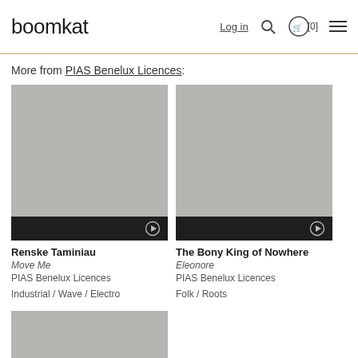boomkat | Log in | [0]
More from PIAS Benelux Licences:
[Figure (photo): Album art placeholder (grey) for Renske Taminiau - Move Me with dark play bar at bottom]
Renske Taminiau
Move Me
PIAS Benelux Licences
Industrial / Wave / Electro
[Figure (photo): Album art placeholder (grey) for The Bony King of Nowhere - Eleonore with dark play bar at bottom]
The Bony King of Nowhere
Eleonore
PIAS Benelux Licences
Folk / Roots
[Figure (photo): Partial album art placeholder (grey) at bottom of page, partially cut off]